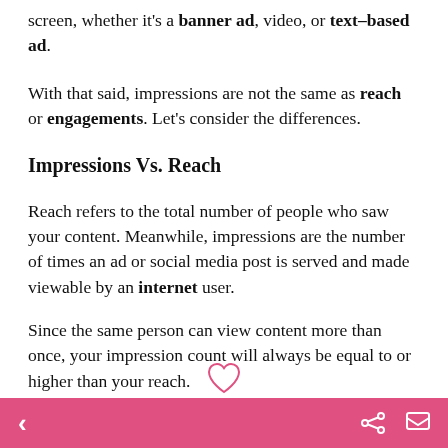screen, whether it's a banner ad, video, or text–based ad.
With that said, impressions are not the same as reach or engagements. Let's consider the differences.
Impressions Vs. Reach
Reach refers to the total number of people who saw your content. Meanwhile, impressions are the number of times an ad or social media post is served and made viewable by an internet user.
Since the same person can view content more than once, your impression count will always be equal to or higher than your reach.
For example, a total of 1 ople saw your new
< share comment